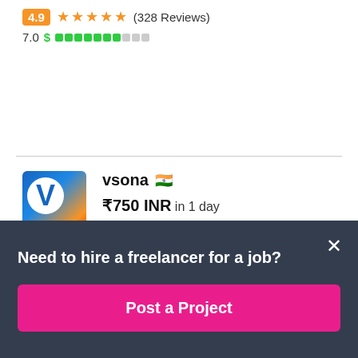4.9 ★★★★★ (328 Reviews)
7.0 $ ▓▓▓▓▓▓░░░
vsona 🇮🇳
₹750 INR in 1 day
5.0 ★★★★★ (121 Reviews)
6.6 $ ▓▓▓▓▓▓░░░
Need to hire a freelancer for a job?
Post a Project